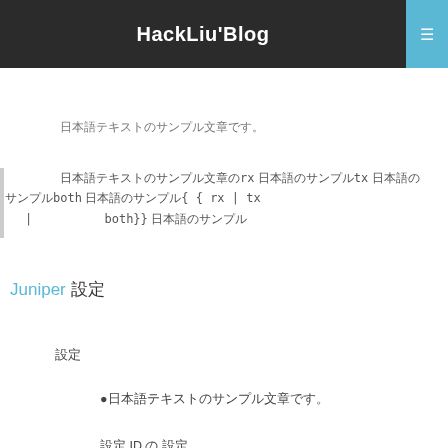HackLiu'Blog
日本語テキストのサンプル文章です。
日本語テキストのrx 日本語のtx 日本語のboth 日本語の{ { rx | tx | both}} 日本語の
Juniper 設定
設定
日本語テキストのサンプル文章です。
設定 ID の 設定